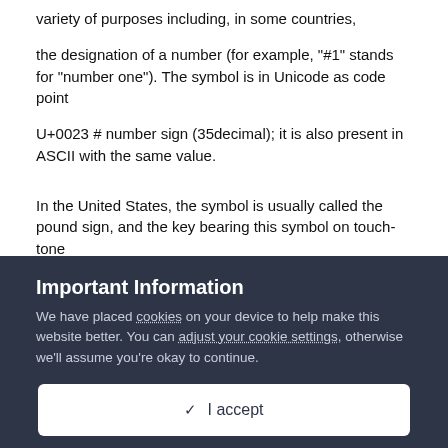variety of purposes including, in some countries,
the designation of a number (for example, "#1" stands for "number one"). The symbol is in Unicode as code point
U+0023 # number sign (35decimal); it is also present in ASCII with the same value.
In the United States, the symbol is usually called the pound sign, and the key bearing this symbol on touch-tone
phones is called the pound key. In Canada, this key is most frequently called the number sign key. In most
Important Information
We have placed cookies on your device to help make this website better. You can adjust your cookie settings, otherwise we'll assume you're okay to continue.
I accept